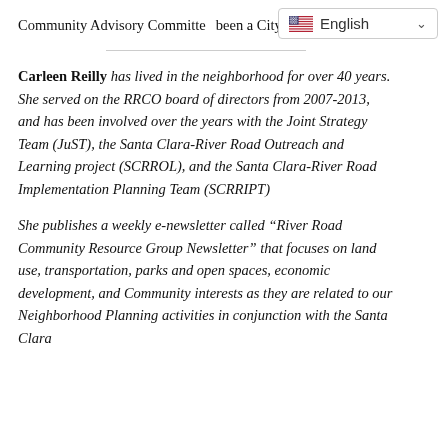Community Advisory Committee been a City employee.
Carleen Reilly has lived in the neighborhood for over 40 years. She served on the RRCO board of directors from 2007-2013, and has been involved over the years with the Joint Strategy Team (JuST), the Santa Clara-River Road Outreach and Learning project (SCRROL), and the Santa Clara-River Road Implementation Planning Team (SCRRIPT)
She publishes a weekly e-newsletter called “River Road Community Resource Group Newsletter” that focuses on land use, transportation, parks and open spaces, economic development, and Community interests as they are related to our Neighborhood Planning activities in conjunction with the Santa Clara